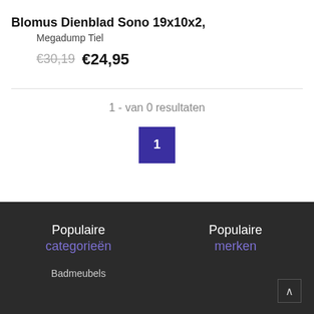Blomus Dienblad Sono 19x10x2,
Megadump Tiel
€30,19  €24,95
1 - van 0 resultaten
1
Populaire categorieën
Populaire merken
Badmeubels